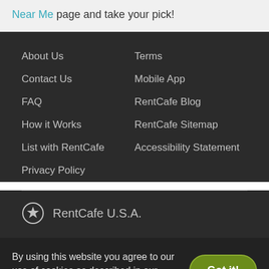Near Me page and take your pick!
About Us
Contact Us
FAQ
How it Works
List with RentCafe
Privacy Policy
Terms
Mobile App
RentCafe Blog
RentCafe Sitemap
Accessibility Statement
[Figure (logo): RentCafe U.S.A. logo with star icon]
RentCafe U.S.A.
By using this website you agree to our use of cookies as described in our cookie policy.